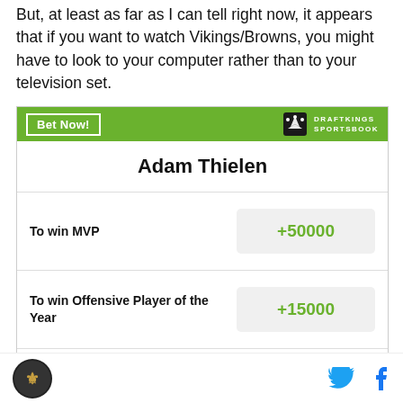But, at least as far as I can tell right now, it appears that if you want to watch Vikings/Browns, you might have to look to your computer rather than to your television set.
|  | Adam Thielen |
| --- | --- |
| To win MVP | +50000 |
| To win Offensive Player of the Year | +15000 |
| Most Receiving Yards in League | +10000 |